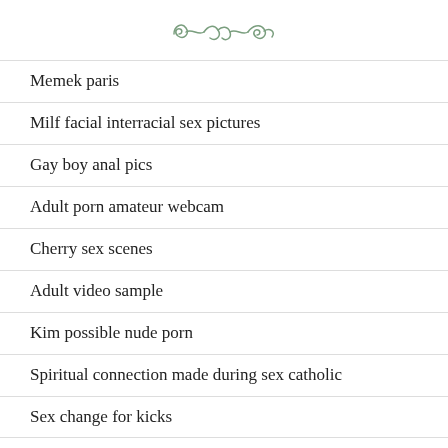[Figure (illustration): Decorative ornamental divider in green/teal color]
Memek paris
Milf facial interracial sex pictures
Gay boy anal pics
Adult porn amateur webcam
Cherry sex scenes
Adult video sample
Kim possible nude porn
Spiritual connection made during sex catholic
Sex change for kicks